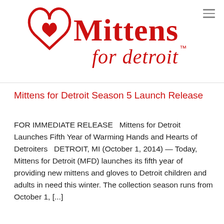[Figure (logo): Mittens for Detroit logo — red heart outline with small heart inside, next to red cursive and serif text reading 'Mittens for detroit™']
Mittens for Detroit Season 5 Launch Release
FOR IMMEDIATE RELEASE   Mittens for Detroit Launches Fifth Year of Warming Hands and Hearts of Detroiters   DETROIT, MI (October 1, 2014) — Today, Mittens for Detroit (MFD) launches its fifth year of providing new mittens and gloves to Detroit children and adults in need this winter. The collection season runs from October 1, [...]